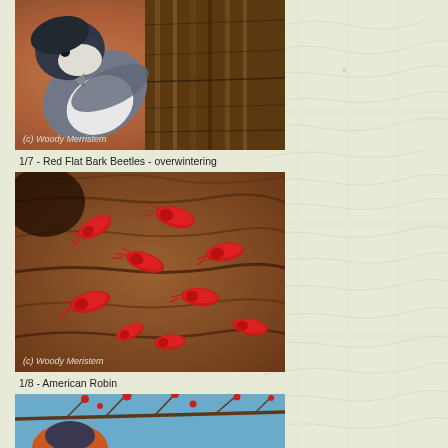[Figure (photo): Close-up photo of a bird (nuthatch or similar) on tree bark, showing the bird's head and back, perched on rough brown bark]
(c) Woody Merristem
1/7 - Red Flat Bark Beetles - overwintering
[Figure (photo): Macro photograph of multiple bright red flat bark beetles (Cucujus clavipes) clustered on brown tree bark, overwintering]
(c) Woody Meristem
1/8 - American Robin
[Figure (photo): Partial photo of an American Robin among winter branches with red berries against blue sky]